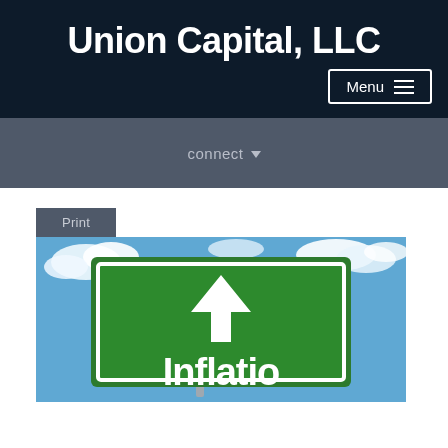Union Capital, LLC
Menu
connect
Print
[Figure (photo): Green highway sign reading 'Inflation' with an upward arrow, set against a blue sky with clouds]